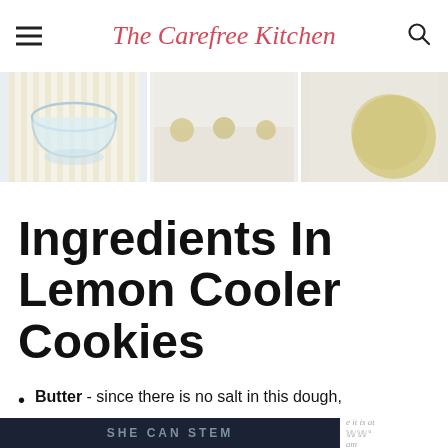The Carefree Kitchen
[Figure (photo): Three-panel photo strip showing cookie preparation steps: a glass bowl with ingredients on a striped cloth, cookie dough balls on a baking sheet, and a close-up of a dough ball.]
Ingredients In Lemon Cooler Cookies
Butter - since there is no salt in this dough,
[Figure (other): Dark advertisement banner reading SHE CAN STEM with partial overlay text 'e it is at am' and logo marks on the right side.]